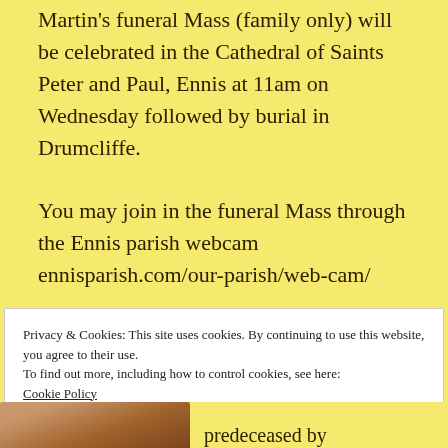Martin's funeral Mass (family only) will be celebrated in the Cathedral of Saints Peter and Paul, Ennis at 11am on Wednesday followed by burial in Drumcliffe.
You may join in the funeral Mass through the Ennis parish webcam ennisparish.com/our-parish/web-cam/
**************************
Privacy & Cookies: This site uses cookies. By continuing to use this website, you agree to their use.
To find out more, including how to control cookies, see here:
Cookie Policy
Close and accept
predeceased by